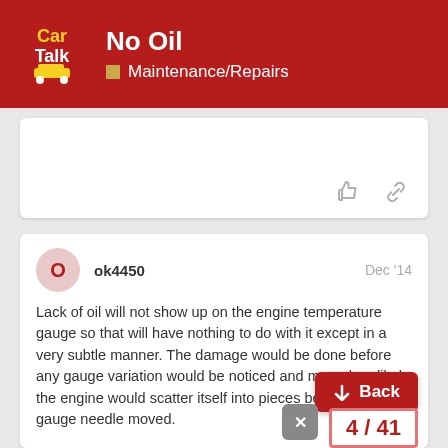No Oil — Maintenance/Repairs
[Figure (screenshot): Car Talk forum logo in red header]
ok4450  Dec '14
Lack of oil will not show up on the engine temperature gauge so that will have nothing to do with it except in a very subtle manner. The damage would be done before any gauge variation would be noticed and more than likely the engine would scatter itself into pieces before the gauge needle moved.
4 / 41